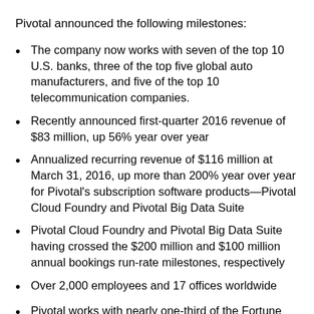Pivotal announced the following milestones:
The company now works with seven of the top 10 U.S. banks, three of the top five global auto manufacturers, and five of the top 10 telecommunication companies.
Recently announced first-quarter 2016 revenue of $83 million, up 56% year over year
Annualized recurring revenue of $116 million at March 31, 2016, up more than 200% year over year for Pivotal’s subscription software products—Pivotal Cloud Foundry and Pivotal Big Data Suite
Pivotal Cloud Foundry and Pivotal Big Data Suite having crossed the $200 million and $100 million annual bookings run-rate milestones, respectively
Over 2,000 employees and 17 offices worldwide
Pivotal works with nearly one-third of the Fortune 100 companies, including industry leaders and...